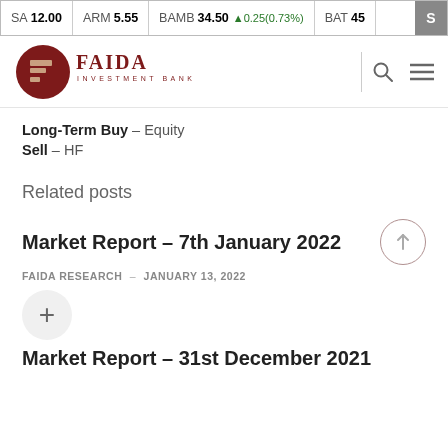SA 12.00  ARM 5.55  BAMB 34.50 ▲0.25(0.73%)  BAT 45  S
[Figure (logo): Faida Investment Bank logo — red circle with stylized F mark and company name]
Long-Term Buy – Equity
Sell – HF
Related posts
Market Report – 7th January 2022
FAIDA RESEARCH  -  JANUARY 13, 2022
Market Report – 31st December 2021